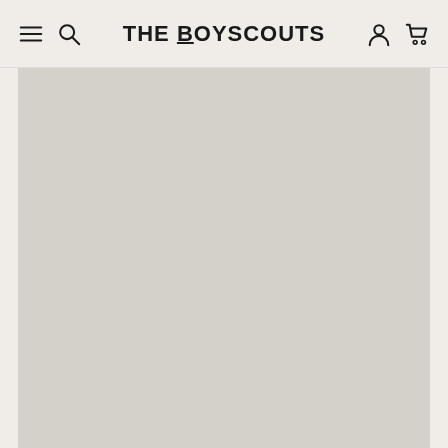THE BOYSCOUTS — navigation header with menu, search, account, and cart icons
[Figure (photo): Large light grey/beige placeholder image area below the navigation header]